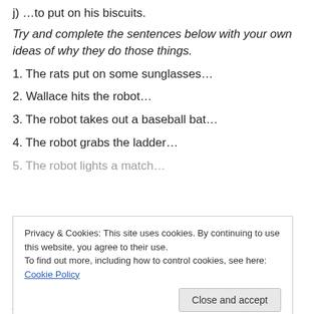j) …to put on his biscuits.
Try and complete the sentences below with your own ideas of why they do those things.
1. The rats put on some sunglasses…
2. Wallace hits the robot…
3. The robot takes out a baseball bat…
4. The robot grabs the ladder…
5. The robot lights a match…
Privacy & Cookies: This site uses cookies. By continuing to use this website, you agree to their use. To find out more, including how to control cookies, see here: Cookie Policy
possible answers for each one)